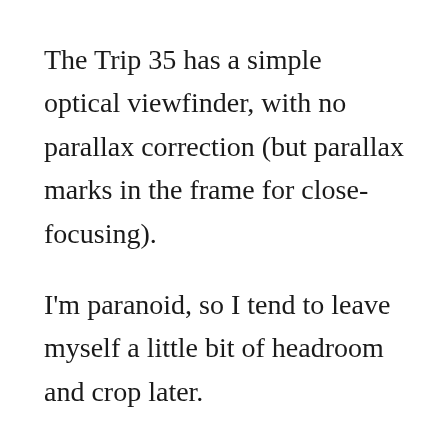The Trip 35 has a simple optical viewfinder, with no parallax correction (but parallax marks in the frame for close-focusing).
I'm paranoid, so I tend to leave myself a little bit of headroom and crop later.